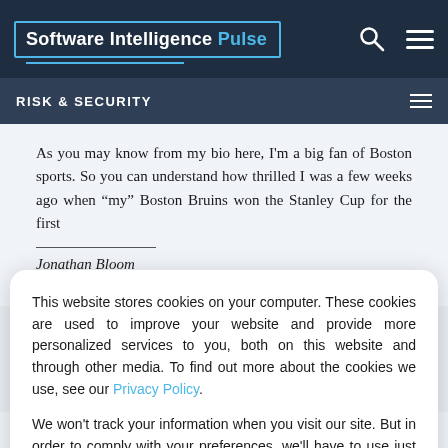Software Intelligence Pulse
RISK & SECURITY
As you may know from my bio here, I'm a big fan of Boston sports. So you can understand how thrilled I was a few weeks ago when “my” Boston Bruins won the Stanley Cup for the first
Jonathan Bloom
Jul 14, 2011
This website stores cookies on your computer. These cookies are used to improve your website and provide more personalized services to you, both on this website and through other media. To find out more about the cookies we use, see our Privacy Policy.

We won't track your information when you visit our site. But in order to comply with your preferences, we'll have to use just one tiny cookie so that you're not asked to make this choice again.
the tornadoes that have ripped through the Midwestern United